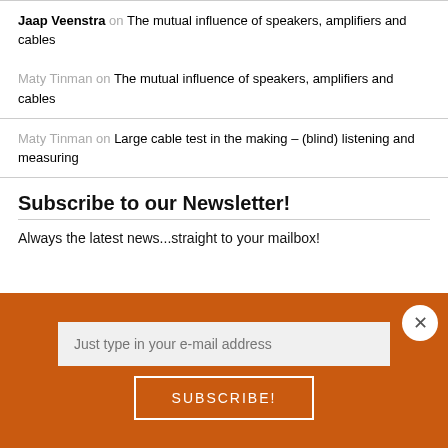Jaap Veenstra on The mutual influence of speakers, amplifiers and cables
Maty Tinman on The mutual influence of speakers, amplifiers and cables
Maty Tinman on Large cable test in the making – (blind) listening and measuring
Subscribe to our Newsletter!
Always the latest news...straight to your mailbox!